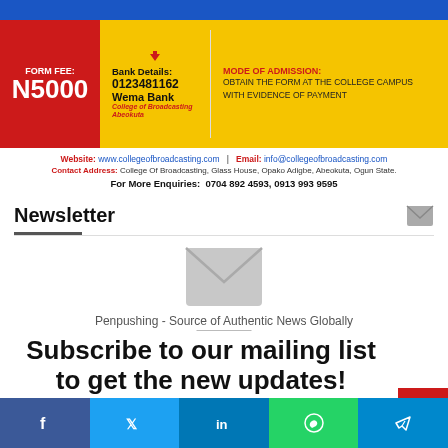[Figure (infographic): College of Broadcasting admission banner: Form Fee N5000, Bank Details 0123481162 Wema Bank College of Broadcasting Abeokuta, Mode of Admission: Obtain the form at the college campus with evidence of payment]
Website: www.collegeofbroadcasting.com | Email: info@collegeofbroadcasting.com
Contact Address: College Of Broadcasting, Glass House, Opako Adigbe, Abeokuta, Ogun State.
For More Enquiries: 0704 892 4593, 0913 993 9595
Newsletter
[Figure (illustration): Large grey envelope icon]
Penpushing - Source of Authentic News Globally
Subscribe to our mailing list to get the new updates!
[Figure (infographic): Social share bar with Facebook, Twitter, LinkedIn, WhatsApp, Telegram buttons]